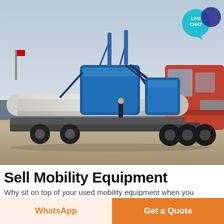[Figure (photo): A large flatbed truck carrying multiple large industrial silos/tanks (white and blue), with a person standing on the cargo. Taken in an industrial yard with hazy sky.]
Sell Mobility Equipment
Why sit on top of your used mobility equipment when you
WhatsApp
Get a Quote